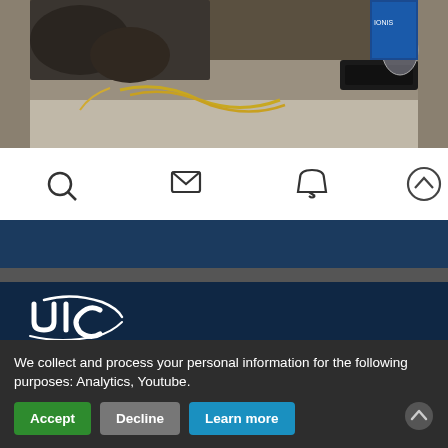[Figure (photo): Photo of a desk/table surface with cables and electronic equipment visible, partially cropped at top]
[Figure (other): Navigation icon bar with search (magnifying glass), email (envelope), notification (bell), and up-arrow icons on white background]
[Figure (other): Dark navy blue navigation bar]
[Figure (logo): UIC (Union Internationale des Chemins de Fer) logo in white on dark navy background]
We collect and process your personal information for the following purposes: Analytics, Youtube.
Accept   Decline   Learn more